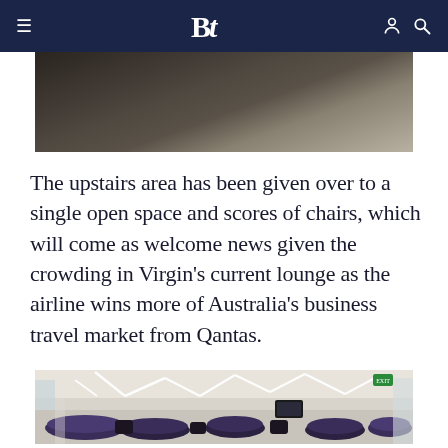≡  Bt  🔍
[Figure (photo): Partial view of a dark interior ceiling/structural element, cropped at top]
The upstairs area has been given over to a single open space and scores of chairs, which will come as welcome news given the crowding in Virgin's current lounge as the airline wins more of Australia's business travel market from Qantas.
[Figure (photo): Wide-angle interior view of a Virgin Australia airport lounge with geometric LED ceiling lights, purple and dark seating arrangements]